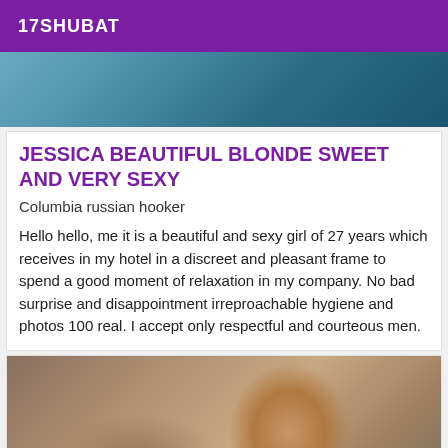17SHUBAT
[Figure (photo): Cropped photo showing lower body in jeans against a stone/brick background]
JESSICA BEAUTIFUL BLONDE SWEET AND VERY SEXY
Columbia russian hooker
Hello hello, me it is a beautiful and sexy girl of 27 years which receives in my hotel in a discreet and pleasant frame to spend a good moment of relaxation in my company. No bad surprise and disappointment irreproachable hygiene and photos 100 real. I accept only respectful and courteous men.
[Figure (photo): Close-up portrait photo of a dark-haired woman with makeup and earrings]